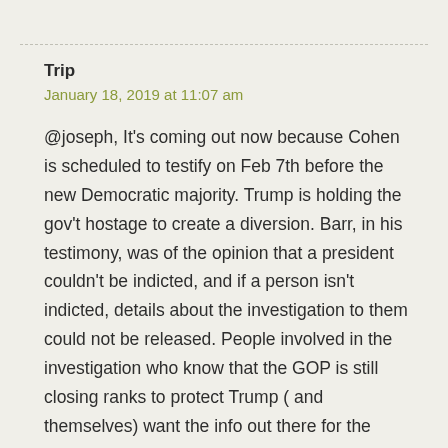Trip
January 18, 2019 at 11:07 am
@joseph, It’s coming out now because Cohen is scheduled to testify on Feb 7th before the new Democratic majority. Trump is holding the gov’t hostage to create a diversion. Barr, in his testimony, was of the opinion that a president couldn’t be indicted, and if a person isn’t indicted, details about the investigation to them could not be released. People involved in the investigation who know that the GOP is still closing ranks to protect Trump ( and themselves) want the info out there for the public.